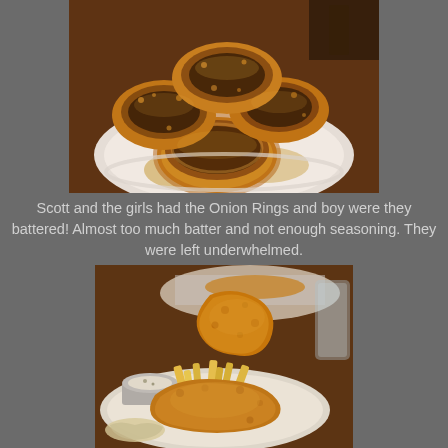[Figure (photo): A plate of large golden-brown battered onion rings stacked on a white plate, photographed in a dim restaurant setting with warm lighting.]
Scott and the girls had the Onion Rings and boy were they battered! Almost too much batter and not enough seasoning. They were left underwhelmed.
[Figure (photo): A plate of fried fish and chips with french fries and a small cup of dipping sauce, with a piece of fried fish being held up, in a restaurant setting.]